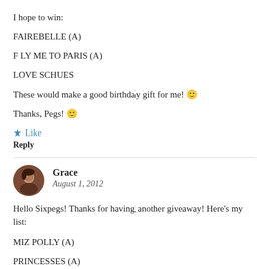I hope to win:
FAIREBELLE (A)
F LY ME TO PARIS (A)
LOVE SCHUES
These would make a good birthday gift for me! 🙂
Thanks, Pegs! 🙂
★ Like
Reply
Grace
August 1, 2012
Hello Sixpegs! Thanks for having another giveaway! Here's my list:
MIZ POLLY (A)
PRINCESSES (A)